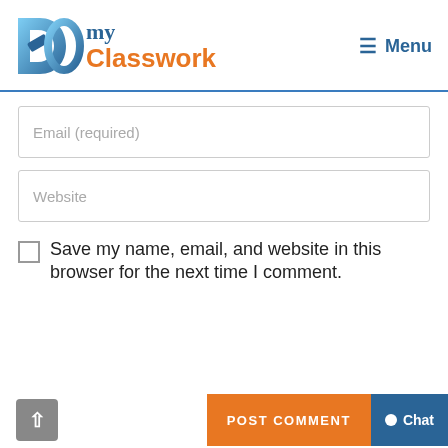[Figure (logo): DoMyClasswork logo with stylized D and O letters in blue gradient, followed by 'my' in blue and 'Classwork' in orange]
≡  Menu
Email (required)
Website
Save my name, email, and website in this browser for the next time I comment.
POST COMMENT
● Chat